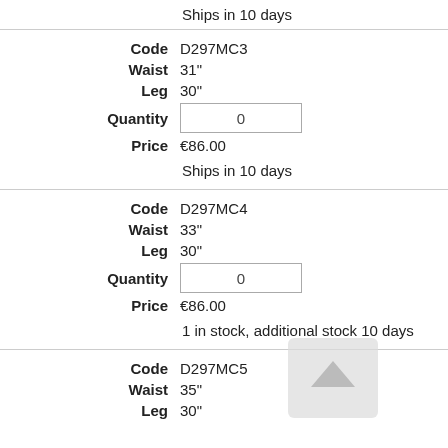Ships in 10 days
| Code | D297MC3 |
| Waist | 31" |
| Leg | 30" |
| Quantity | 0 |
| Price | €86.00 |
|  | Ships in 10 days |
| Code | D297MC4 |
| Waist | 33" |
| Leg | 30" |
| Quantity | 0 |
| Price | €86.00 |
|  | 1 in stock, additional stock 10 days |
| Code | D297MC5 |
| Waist | 35" |
| Leg | 30" |